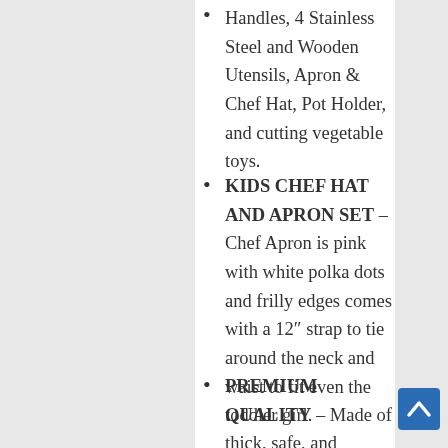Handles, 4 Stainless Steel and Wooden Utensils, Apron & Chef Hat, Pot Holder, and cutting vegetable toys.
KIDS CHEF HAT AND APRON SET – Chef Apron is pink with white polka dots and frilly edges comes with a 12″ strap to tie around the neck and waist to fit even the toddler girl.
PREMIUM QUALITY – Made of thick, safe, and environment-friendly materials.